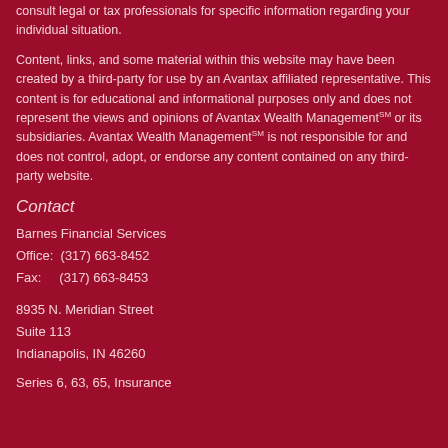consult legal or tax professionals for specific information regarding your individual situation.
Content, links, and some material within this website may have been created by a third-party for use by an Avantax affiliated representative. This content is for educational and informational purposes only and does not represent the views and opinions of Avantax Wealth ManagementSM or its subsidiaries. Avantax Wealth ManagementSM is not responsible for and does not control, adopt, or endorse any content contained on any third-party website.
Contact
Barnes Financial Services
Office:  (317) 663-8452
Fax:      (317) 663-8453
8935 N. Meridian Street
Suite 113
Indianapolis, IN 46260
Series 6, 63, 65, Insurance